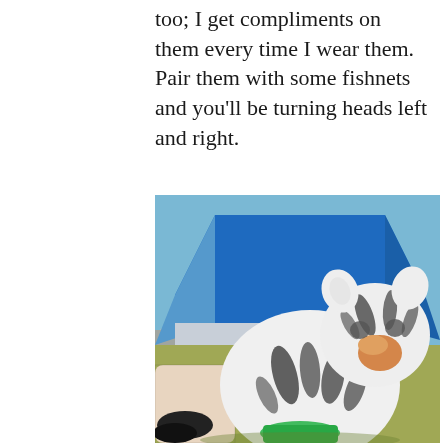too; I get compliments on them every time I wear them. Pair them with some fishnets and you'll be turning heads left and right.
[Figure (photo): A photo showing a large white tiger stuffed animal / plush toy sitting in front of a blue dome tent at a campsite. Green grass and another grey tent are visible in the background. The person's legs wearing fishnet stockings and black shoes are partially visible in the foreground, and a green item of clothing is held by the stuffed animal.]